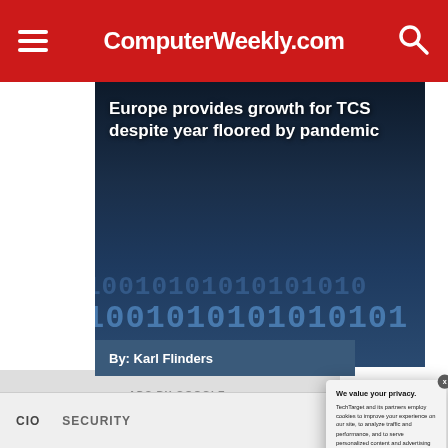ComputerWeekly.com
Europe provides growth for TCS despite year floored by pandemic
By: Karl Flinders
-ADS BY GOOGLE
CIO   SECURITY
We value your privacy. TechTarget and its partners employ cookies to improve your experience on our site, to analyze traffic and performance, and to serve personalized content and advertising that are relevant to your professional interests. You can manage your settings at any time. Please view our Privacy Policy for more information